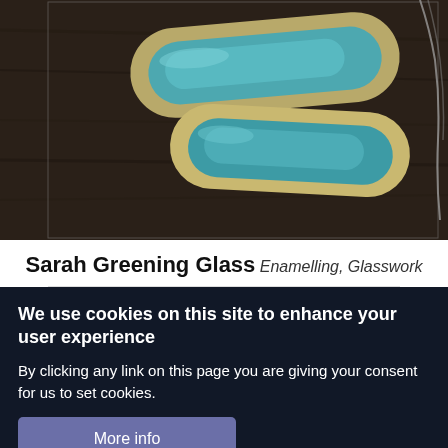[Figure (photo): Photo of turquoise and gold/beige enamel glass jewelry pieces (elongated oval/rounded rectangle shapes) on a dark wooden surface. A chain is partially visible.]
Sarah Greening Glass
Enamelling, Glasswork
We use cookies on this site to enhance your user experience
By clicking any link on this page you are giving your consent for us to set cookies.
More info
OK, I agree
Decline